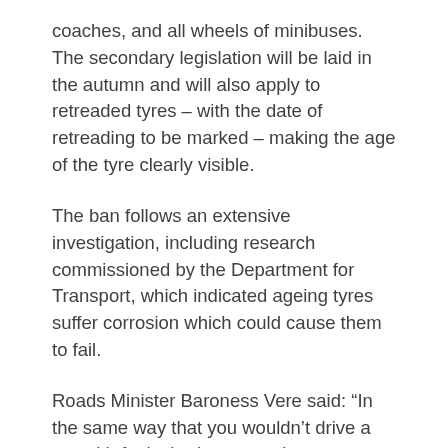coaches, and all wheels of minibuses. The secondary legislation will be laid in the autumn and will also apply to retreaded tyres – with the date of retreading to be marked – making the age of the tyre clearly visible.
The ban follows an extensive investigation, including research commissioned by the Department for Transport, which indicated ageing tyres suffer corrosion which could cause them to fail.
Roads Minister Baroness Vere said: “In the same way that you wouldn’t drive a car with faulty brakes, ensuring your tyres are fit for purpose is crucial in making every journey safer. Taking this step will give drivers across the country confidence their lorries, buses and coaches are truly fit for use – a safety boost for road users everywhere. This change is in no small way the result of years of campaigning, particularly from Frances Molloy, to whom I thank and